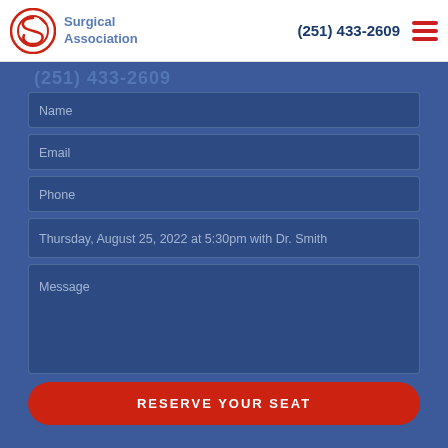Surgical Association | (251) 433-2609
(251) 433-2609
Name
Email
Phone
Thursday, August 25, 2022 at 5:30pm with Dr. Smith
Message
RESERVE YOUR SEAT